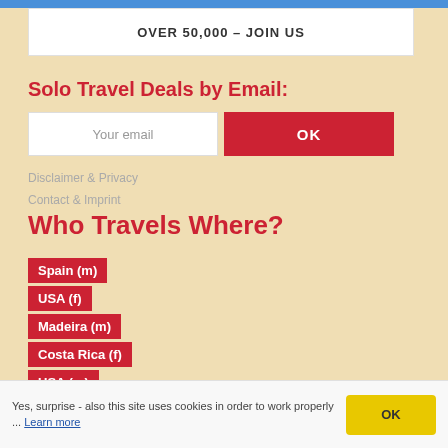[Figure (photo): Top banner image strip in blue]
OVER 50,000 – JOIN US
Solo Travel Deals by Email:
Your email | OK
Disclaimer & Privacy
Contact & Imprint
Who Travels Where?
Spain (m)
USA (f)
Madeira (m)
Costa Rica (f)
USA (m)
Peru (m)
Yes, surprise - also this site uses cookies in order to work properly ... Learn more | OK